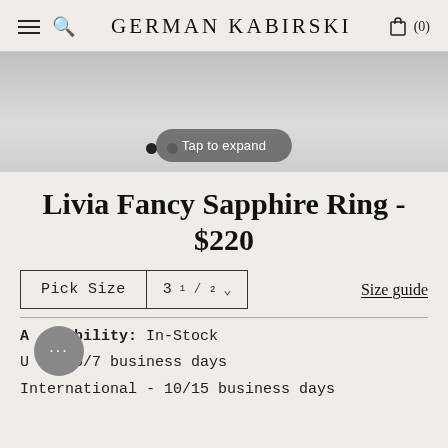GERMAN KABIRSKI
[Figure (screenshot): Product image gallery area (grayed out, jewelry not visible), with dot navigation and 'Tap to expand' overlay button]
Livia Fancy Sapphire Ring - $220
Pick Size  3½ ∨    Size guide
Availability: In-Stock
US - 5/7 business days
International - 10/15 business days